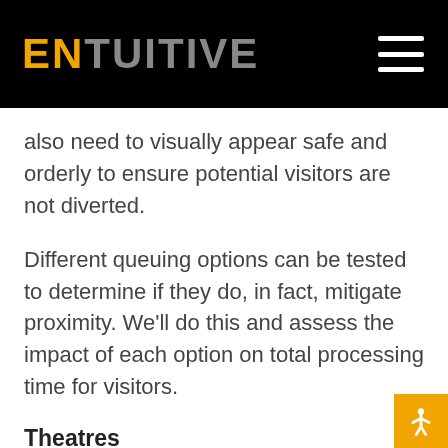ENTUITIVE
also need to visually appear safe and orderly to ensure potential visitors are not diverted.
Different queuing options can be tested to determine if they do, in fact, mitigate proximity. We'll do this and assess the impact of each option on total processing time for visitors.
Theatres